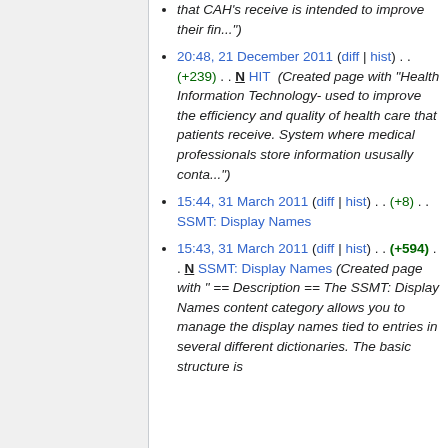that CAH's receive is intended to improve their fin...")
20:48, 21 December 2011 (diff | hist) . . (+239) . . N HIT (Created page with "Health Information Technology- used to improve the efficiency and quality of health care that patients receive. System where medical professionals store information ususally conta...")
15:44, 31 March 2011 (diff | hist) . . (+8) . . SSMT: Display Names
15:43, 31 March 2011 (diff | hist) . . (+594) . . N SSMT: Display Names (Created page with " == Description == The SSMT: Display Names content category allows you to manage the display names tied to entries in several different dictionaries. The basic structure is